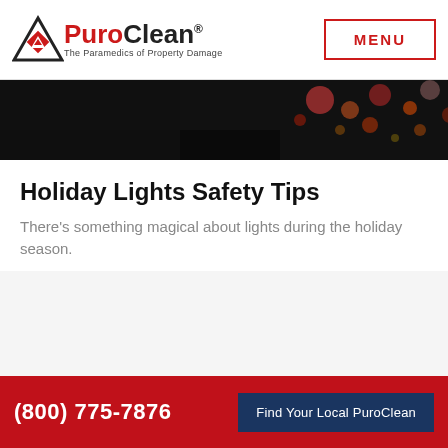[Figure (logo): PuroClean logo with triangle hazmat symbol and tagline 'The Paramedics of Property Damage']
[Figure (photo): Dark nighttime photo showing holiday lights with bokeh effect]
Holiday Lights Safety Tips
There's something magical about lights during the holiday season.
(800) 775-7876  Find Your Local PuroClean